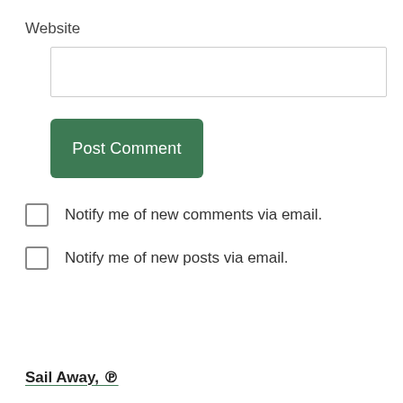Website
[Figure (other): Empty text input field for website URL]
Post Comment
Notify me of new comments via email.
Notify me of new posts via email.
Sail Away, ℗